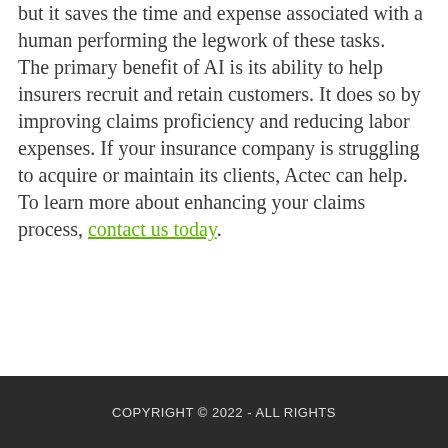but it saves the time and expense associated with a human performing the legwork of these tasks. The primary benefit of AI is its ability to help insurers recruit and retain customers. It does so by improving claims proficiency and reducing labor expenses. If your insurance company is struggling to acquire or maintain its clients, Actec can help. To learn more about enhancing your claims process, contact us today.
COPYRIGHT © 2022 - ALL RIGHTS